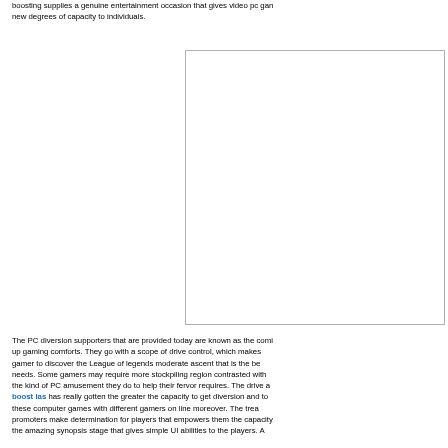boosting supplies a genuine entertainment occasion that gives video pc games new degrees of capacity to individuals.
[Figure (other): A blank white rectangle with a light gray border, representing a placeholder image.]
The PC diversion supporters that are provided today are known as the coming up gaming comforts. They go with a scope of drive control, which makes a gamer to discover the League of legends moderate ascent that is the best needs. Some gamers may require more stockpiling region contrasted with the kind of PC amusement they do to help their fervor requires. The drive a boost las has really gotten the greater the capacity to get diversion and to these computer games with different gamers on line moreover. The treat promoters make determination for players that empowers them the capacity the amazing synopsis stage that gives simple UI abilities to the players. A